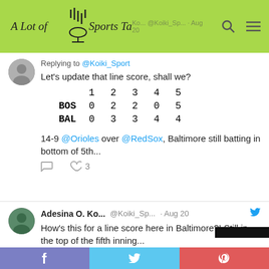A Lot of Sports Talk
Replying to @Koiki_Sport
Let's update that line score, shall we?
|  | 1 | 2 | 3 | 4 | 5 |
| --- | --- | --- | --- | --- | --- |
| BOS | 0 | 2 | 2 | 0 | 5 |
| BAL | 0 | 3 | 3 | 4 | 4 |
14-9 @Orioles over @RedSox, Baltimore still batting in bottom of 5th...
Adesina O. Ko... @Koiki_Sp... · Aug 20
How's this for a line score here in Baltimore?! Still in the top of the fifth inning...
|  | 1 | 2 | 3 | 4 | 5 |
| --- | --- | --- | --- | --- | --- |
| BOS | 0 | 2 | 2 | 0 | 5 |
| BAL | 0 | 3 | 3 | 4 |  |
Share on Facebook | Share on Twitter | Share on Pinterest